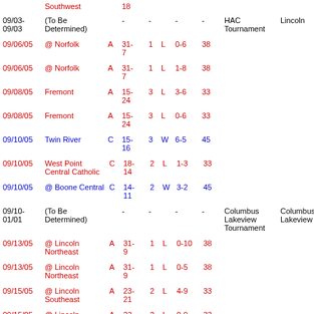| Date | Opponent | H/A/C | Score | Set | W/L | Record | Att | Tournament | Site |
| --- | --- | --- | --- | --- | --- | --- | --- | --- | --- |
|  | Southwest |  | 18 |  |  |  |  |  |  |
| 09/03-09/03 | (To Be Determined) |  | - | - |  | - | - | HAC Tournament | Lincoln |
| 09/06/05 | @ Norfolk | A | 31-7 | 1 | L | 0-6 | 38 |  |  |
| 09/06/05 | @ Norfolk | A | 31-7 | 1 | L | 1-8 | 38 |  |  |
| 09/08/05 | Fremont | A | 15-24 | 3 | L | 3-6 | 33 |  |  |
| 09/08/05 | Fremont | A | 15-24 | 3 | L | 0-6 | 33 |  |  |
| 09/10/05 | Twin River | C | 15-16 | 3 | W | 6-5 | 45 |  |  |
| 09/10/05 | West Point Central Catholic | C | 18-14 | 2 | L | 1-3 | 33 |  |  |
| 09/10/05 | @ Boone Central | C | 14-11 | 2 | W | 3-2 | 45 |  |  |
| 09/10-01/01 | (To Be Determined) |  | - | - |  | - | - | Columbus Lakeview Tournament | Columbus Lakeview |
| 09/13/05 | @ Lincoln Northeast | A | 31-9 | 1 | L | 0-10 | 38 |  |  |
| 09/13/05 | @ Lincoln Northeast | A | 31-9 | 1 | L | 0-5 | 38 |  |  |
| 09/15/05 | @ Lincoln Southeast | A | 23-21 | 2 | L | 4-9 | 33 |  |  |
| 09/15/05 | @ Lincoln Southeast | A | 23-21 | 2 | L | 0-9 | 33 |  |  |